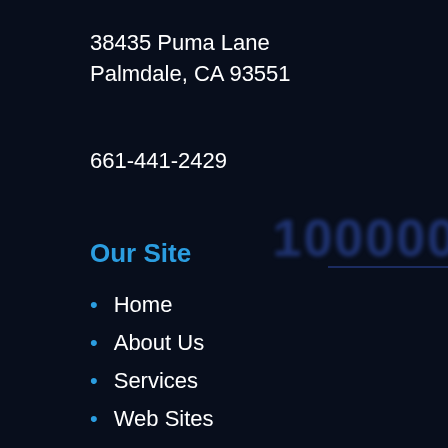38435 Puma Lane
Palmdale, CA 93551
661-441-2429
Our Site
Home
About Us
Services
Web Sites
Blogs
Resources
Newsletter
Contact Us